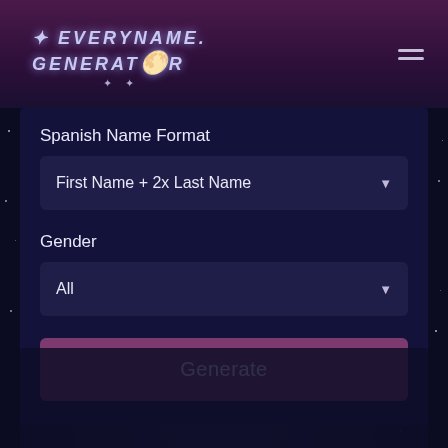[Figure (screenshot): EveryNameGenerator website header with logo showing stylized italic text 'EVERYNAME GENERATOR' with a moon icon and decorative stars, on a dark purple gradient background, with hamburger menu icon on the right]
Spanish Name Format
First Name + 2x Last Name
Gender
All
Generate